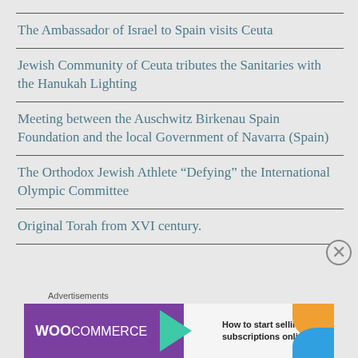The Ambassador of Israel to Spain visits Ceuta
Jewish Community of Ceuta tributes the Sanitaries with the Hanukah Lighting
Meeting between the Auschwitz Birkenau Spain Foundation and the local Government of Navarra (Spain)
The Orthodox Jewish Athlete “Defying” the International Olympic Committee
Original Torah from XVI century.
[Figure (screenshot): WooCommerce advertisement banner: purple left side with WooCommerce logo and green arrow, white right side with text 'How to start selling subscriptions online', orange and blue decorative blobs in corner]